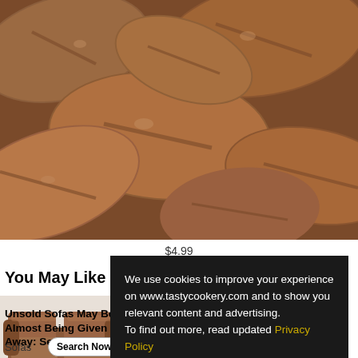[Figure (photo): Close-up photo of roasted coffee beans, brown tones, filling top portion of page]
$4.99
You May Like
[Figure (photo): Photo of brown leather sofa/loveseat]
Unsold Sofas May Be Almost Being Given Away: See..
Sofas
Search Now
boola
Geas.best
Tibgez
We use cookies to improve your experience on www.tastycookery.com and to show you relevant content and advertising.
To find out more, read updated Privacy Policy
OK